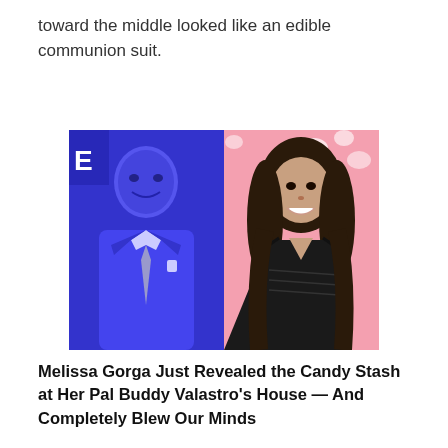toward the middle looked like an edible communion suit.
[Figure (photo): Split image: left side shows a man in a blue suit with a tie smiling at the camera against a blue background; right side shows a woman with long wavy dark hair wearing a black dress, smiling, against a pink background with decorative elements.]
Melissa Gorga Just Revealed the Candy Stash at Her Pal Buddy Valastro's House — And Completely Blew Our Minds